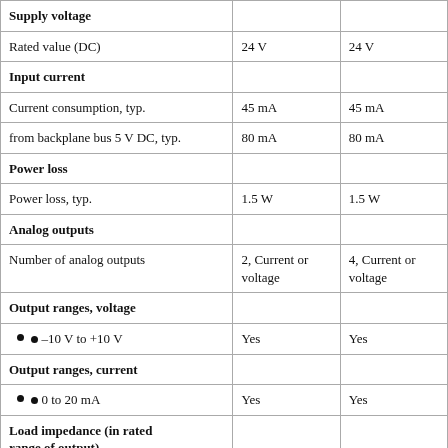|  |  |  |
| --- | --- | --- |
| Supply voltage |  |  |
| Rated value (DC) | 24 V | 24 V |
| Input current |  |  |
| Current consumption, typ. | 45 mA | 45 mA |
| from backplane bus 5 V DC, typ. | 80 mA | 80 mA |
| Power loss |  |  |
| Power loss, typ. | 1.5 W | 1.5 W |
| Analog outputs |  |  |
| Number of analog outputs | 2, Current or voltage | 4, Current or voltage |
| Output ranges, voltage |  |  |
| ● –10 V to +10 V | Yes | Yes |
| Output ranges, current |  |  |
| ● 0 to 20 mA | Yes | Yes |
| Load impedance (in rated range of output) |  |  |